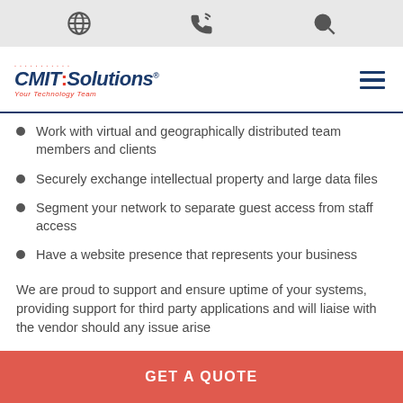Navigation icons: globe, phone, search
[Figure (logo): CMIT Solutions logo with tagline 'Your Technology Team' and hamburger menu]
Work with virtual and geographically distributed team members and clients
Securely exchange intellectual property and large data files
Segment your network to separate guest access from staff access
Have a website presence that represents your business
We are proud to support and ensure uptime of your systems, providing support for third party applications and will liaise with the vendor should any issue arise
GET A QUOTE